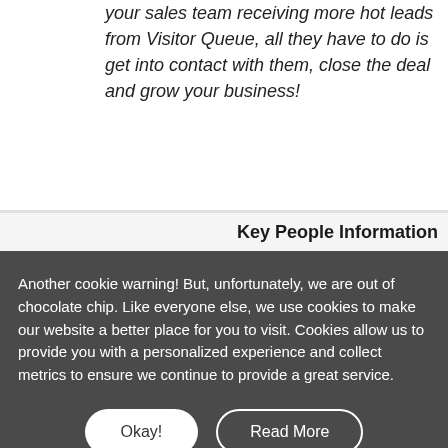your sales team receiving more hot leads from Visitor Queue, all they have to do is get into contact with them, close the deal and grow your business!
Key People Information
Another cookie warning! But, unfortunately, we are out of chocolate chip. Like everyone else, we use cookies to make our website a better place for you to visit. Cookies allow us to provide you with a personalized experience and collect metrics to ensure we continue to provide a great service.